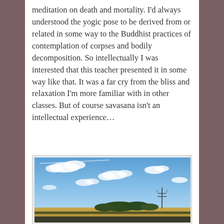meditation on death and mortality. I'd always understood the yogic pose to be derived from or related in some way to the Buddhist practices of contemplation of corpses and bodily decomposition. So intellectually I was interested that this teacher presented it in some way like that. It was a far cry from the bliss and relaxation I'm more familiar with in other classes. But of course savasana isn't an intellectual experience...
[Figure (photo): A landscape photo taken from a moving vehicle showing a wide open field under a partly cloudy blue sky. Trees and an electricity pylon are visible on the horizon. The foreground shows a road or rail track edge.]